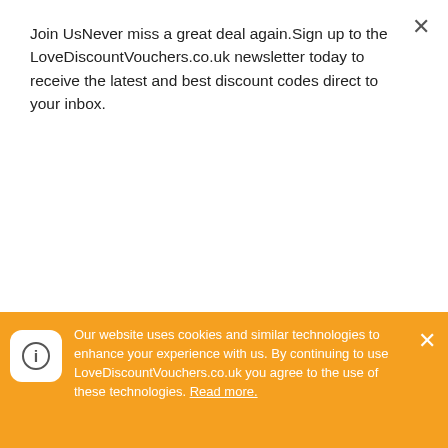Join UsNever miss a great deal again.Sign up to the LoveDiscountVouchers.co.uk newsletter today to receive the latest and best discount codes direct to your inbox.
Subscribe
LOFT Discount Codes Rating
[Figure (infographic): 4 and a half star rating shown as black filled stars and one half star]
Follow LOFT social media accounts
[Figure (infographic): Row of four social media icons: Facebook (blue circle with f), Twitter (blue bird), Instagram (camera gradient), Pinterest (red P)]
Our website uses cookies and similar technologies to enhance your experience with us. By continuing to use LoveDiscountVouchers.co.uk you agree to the use of these technologies. Read more.